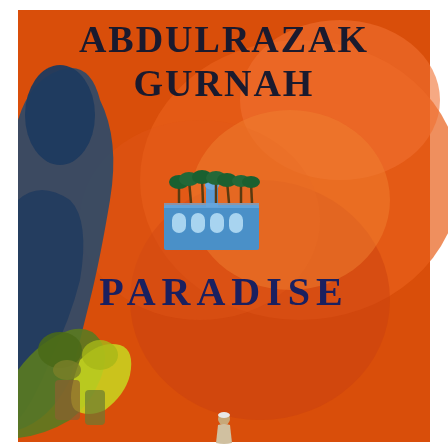[Figure (illustration): Book cover of 'Paradise' by Abdulrazak Gurnah. The background is a vibrant orange-red painterly wash. On the left side is a large abstract dark blue/teal shape suggesting a human figure or form. In the lower left are figures in green and yellow with bundles or goods. In the center-upper area is a small detailed illustration of a blue building with arched windows and palm trees on top, resembling a paradise garden or oasis. At the very bottom center is a tiny figure of a person in white. The author's name 'ABDULRAZAK GURNAH' is printed in large dark serif letters at the top, and 'PARADISE' in dark navy/blue serif letters in the middle.]